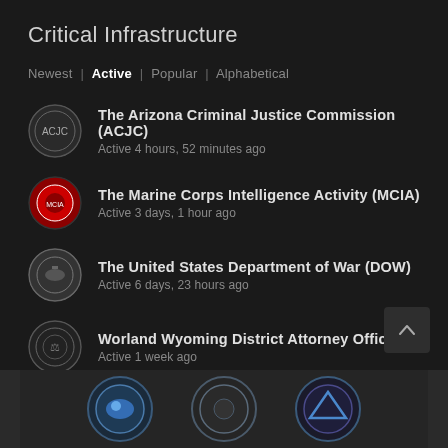Critical Infrastructure
Newest | Active | Popular | Alphabetical
The Arizona Criminal Justice Commission (ACJC)
Active 4 hours, 52 minutes ago
The Marine Corps Intelligence Activity (MCIA)
Active 3 days, 1 hour ago
The United States Department of War (DOW)
Active 6 days, 23 hours ago
Worland Wyoming District Attorney Office
Active 1 week ago
Torrington Wyoming District Attorney Office
Active 1 week ago
[Figure (screenshot): Bottom navigation strip showing three circular badge icons with blue glow effects against dark background]